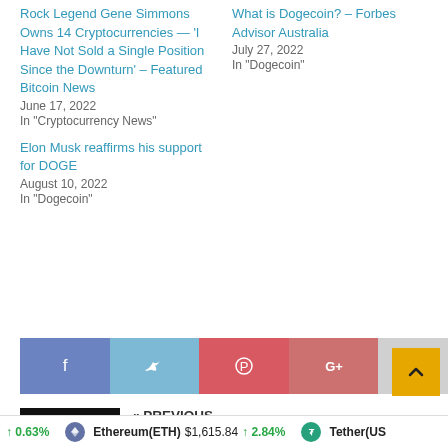Rock Legend Gene Simmons Owns 14 Cryptocurrencies — 'I Have Not Sold a Single Position Since the Downturn' – Featured Bitcoin News
June 17, 2022
In "Cryptocurrency News"
Elon Musk reaffirms his support for DOGE
August 10, 2022
In "Dogecoin"
What is Dogecoin? – Forbes Advisor Australia
July 27, 2022
In "Dogecoin"
[Figure (infographic): Social share buttons: Facebook (blue-purple), Twitter (light blue), Pinterest (red), Google+ (muted red), Email (grey)]
[Figure (photo): Dark image with glowing yellow Bitcoin symbol]
« PREVIOUS
Demand for cryptocurrency payment gateways rises 40% among merchants
↑ 0.63%   Ethereum(ETH)  $1,615.84  ↑ 2.84%   Tether(US...